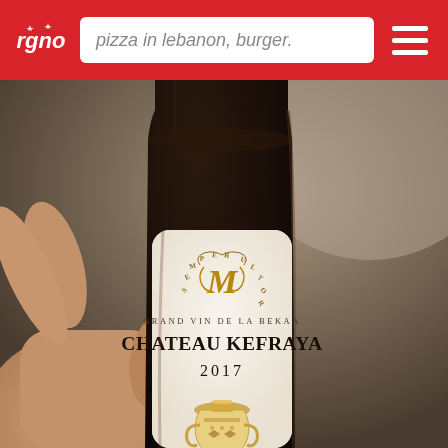pizza in lebanon, burger.
[Figure (photo): A hand holding a wine bottle showing label: GRAND VIN DE LA BEKAA, CHATEAU KEFRAYA 2017, with decorative Semper Ultor monogram and traditional decorative vessel illustration on label]